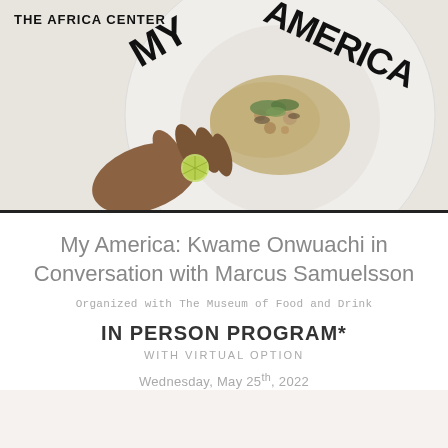THE AFRICA CENTER
[Figure (photo): A hand placing a lime slice on a white plate with food (a grain/vegetable dish with herbs), with 'MY AMERICA' written in large stylized black letters along the rim of the plate. Background is a pale beige/cream tone.]
My America: Kwame Onwuachi in Conversation with Marcus Samuelsson
Organized with The Museum of Food and Drink
IN PERSON PROGRAM*
WITH VIRTUAL OPTION
Wednesday, May 25th, 2022